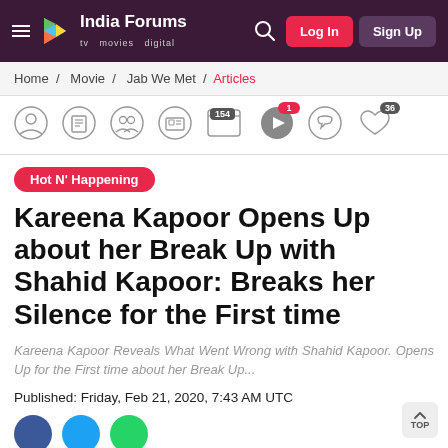India Forums — tv movies digital — Log In | Sign Up
Home / Movie / Jab We Met / Articles
[Figure (screenshot): Icon navigation bar with user, book, group, ID, 154 articles, 1 video, comments, and 36 likes icons]
Hot N' Happening
Kareena Kapoor Opens Up about her Break Up with Shahid Kapoor: Breaks her Silence for the First time
Kareena Kapoor Reveals What Went Wrong with Shahid Kapoor. Opens Up for the First time about her Break Up...
Published: Friday, Feb 21, 2020, 7:43 AM UTC